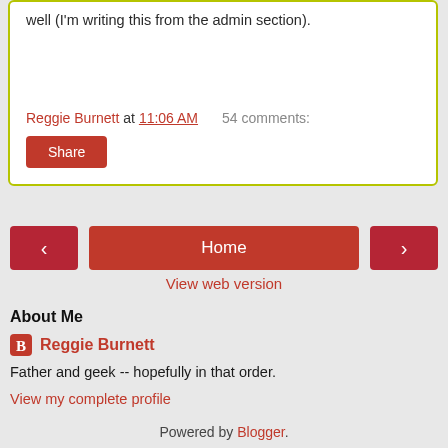well (I'm writing this from the admin section).
Reggie Burnett at 11:06 AM   54 comments:
Share
< Home >
View web version
About Me
Reggie Burnett
Father and geek -- hopefully in that order.
View my complete profile
Powered by Blogger.